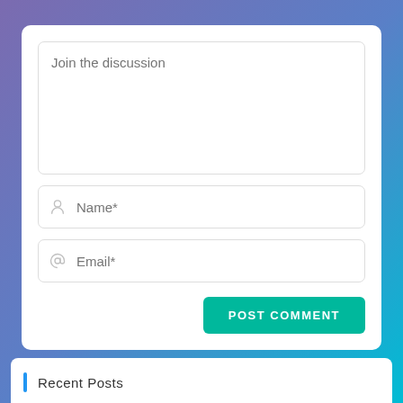[Figure (screenshot): A web comment form UI with a gradient purple-blue-cyan background. Contains a white card with a textarea labeled 'Join the discussion', a Name* input field with a user icon, an Email* input field with an @ icon, a green POST COMMENT button, and at the bottom a 'Recent Posts' section header with a blue left bar.]
Join the discussion
Name*
Email*
POST COMMENT
Recent Posts